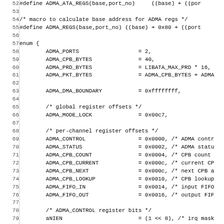[Figure (screenshot): Source code listing in C showing macro definitions and an enum with ADMA register constants and offsets. Lines 52–83 are visible, including #define macros for ADMA_ATA_REGS and ADMA_REGS, and an enum listing ADMA_PORTS, ADMA_CPB_BYTES, ADMA_PRD_BYTES, ADMA_PKT_BYTES, ADMA_DMA_BOUNDARY, ADMA_MODE_LOCK, ADMA_CONTROL, ADMA_STATUS, ADMA_CPB_COUNT, ADMA_CPB_CURRENT, ADMA_CPB_NEXT, ADMA_CPB_LOOKUP, ADMA_FIFO_IN, ADMA_FIFO_OUT, aNIEN, aGO, aRSTADM, aPIOmd4 with hex and expression values and inline comments.]